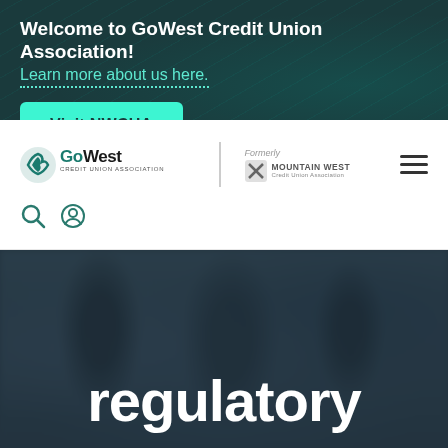Welcome to GoWest Credit Union Association!
Learn more about us here.
Visit NWCUA
[Figure (logo): GoWest Credit Union Association logo with 'Formerly Mountain West Credit Union Association' text]
regulatory